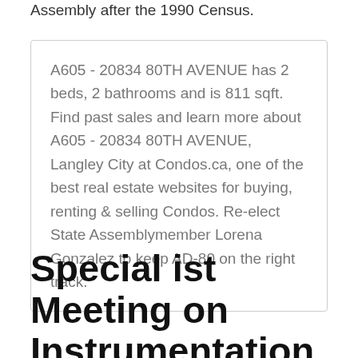Assembly after the 1990 Census.
A605 - 20834 80TH AVENUE has 2 beds, 2 bathrooms and is 811 sqft. Find past sales and learn more about A605 - 20834 80TH AVENUE, Langley City at Condos.ca, one of the best real estate websites for buying, renting & selling Condos. Re-elect State Assemblymember Lorena Gonzalez to keep AD-80 on the right track.
Special ist Meeting on Instrumentation to Manage Severe